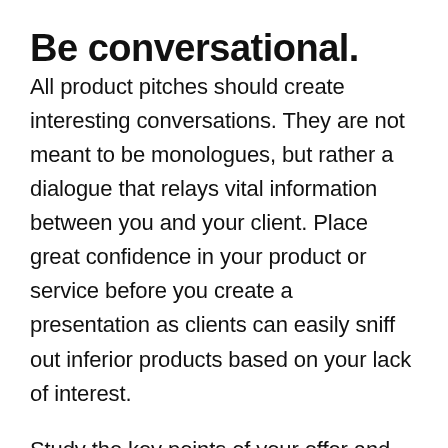Be conversational.
All product pitches should create interesting conversations. They are not meant to be monologues, but rather a dialogue that relays vital information between you and your client. Place great confidence in your product or service before you create a presentation as clients can easily sniff out inferior products based on your lack of interest.
Study the key points of your offer and highlight your unique selling propositions in as minimal slides as possible. Go for relevant images that raise interest and prove a point. As long as you put what's appropriate in your presentations, you're most likely to pique their curiosity and consider your pitch.